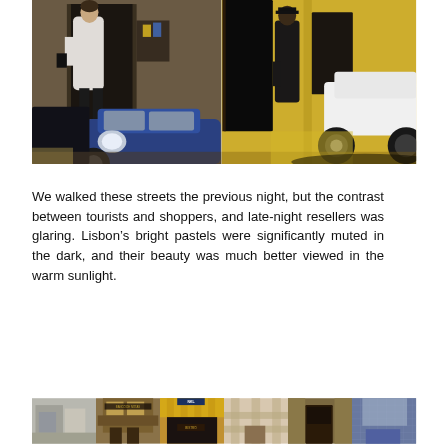[Figure (photo): Two side-by-side street photography photos of Lisbon. Left: a person in a white jacket standing in front of a shop entrance, with a dark blue car in the foreground. Right: a person in dark clothing near a yellow building facade, with a white vehicle visible on the right.]
We walked these streets the previous night, but the contrast between tourists and shoppers, and late-night resellers was glaring. Lisbon's bright pastels were significantly muted in the dark, and their beauty was much better viewed in the warm sunlight.
[Figure (photo): A horizontal strip of six small street photography photos showing various Lisbon building facades, storefronts, and architectural details including ornate buildings, tiled facades, and street-level shops.]